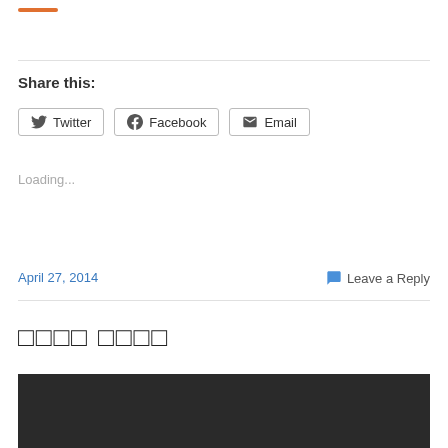[Figure (other): Orange decorative horizontal bar]
Share this:
Twitter  Facebook  Email
Loading...
April 27, 2014
Leave a Reply
□□□□ □□□□
[Figure (photo): Dark/black image block at bottom of page]